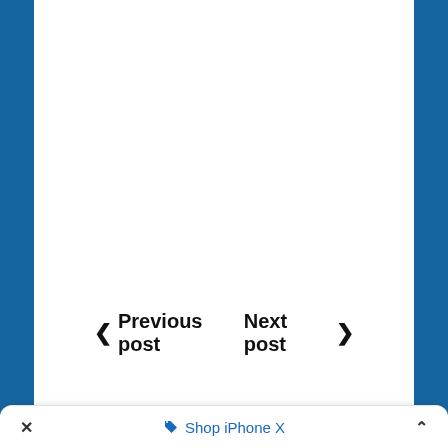< Previous post   Next post >
ABOUT THE AUTHOR
[Figure (photo): Partial photo of a person's head against a green tree/foliage background]
× Shop iPhone X ^